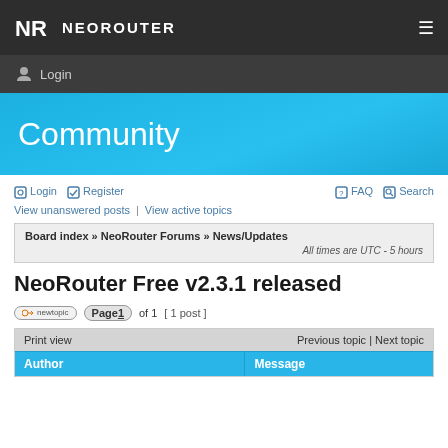NR NEOROUTER
Login
Community
Login  Register  FAQ  Search
View unanswered posts  |  View active topics
Board index » NeoRouter Forums » News/Updates  All times are UTC - 5 hours
NeoRouter Free v2.3.1 released
Page 1 of 1  [ 1 post ]
| Print view | Previous topic | Next topic |
| --- | --- |
| Author | Message |